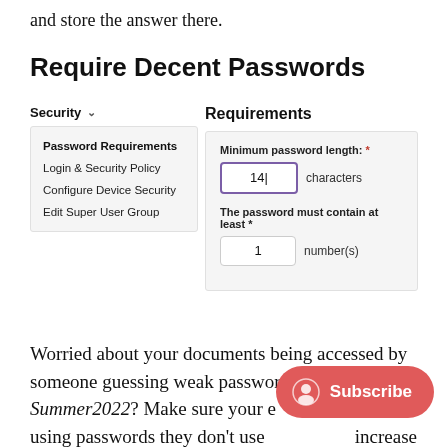and store the answer there.
Require Decent Passwords
[Figure (screenshot): A UI screenshot showing a Security settings panel on the left with menu items: Password Requirements (active/bold), Login & Security Policy, Configure Device Security, Edit Super User Group. On the right is a Requirements panel with fields: Minimum password length (input box showing 14, with purple border, followed by 'characters') and 'The password must contain at least *' (input box showing 1, followed by 'number(s)').]
Worried about your documents being accessed by someone guessing weak passwords like Summer2022? Make sure your e… using passwords they don't use … increase the required password length to at least